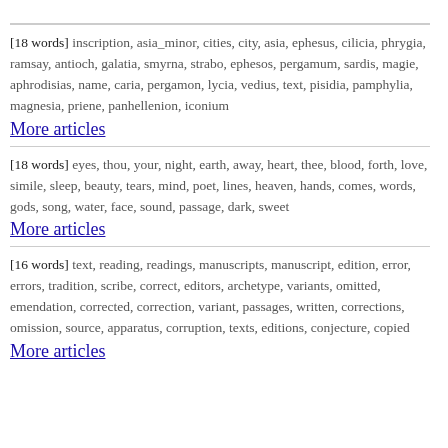[18 words] inscription, asia_minor, cities, city, asia, ephesus, cilicia, phrygia, ramsay, antioch, galatia, smyrna, strabo, ephesos, pergamum, sardis, magie, aphrodisias, name, caria, pergamon, lycia, vedius, text, pisidia, pamphylia, magnesia, priene, panhellenion, iconium
More articles
[18 words] eyes, thou, your, night, earth, away, heart, thee, blood, forth, love, simile, sleep, beauty, tears, mind, poet, lines, heaven, hands, comes, words, gods, song, water, face, sound, passage, dark, sweet
More articles
[16 words] text, reading, readings, manuscripts, manuscript, edition, error, errors, tradition, scribe, correct, editors, archetype, variants, omitted, emendation, corrected, correction, variant, passages, written, corrections, omission, source, apparatus, corruption, texts, editions, conjecture, copied
More articles